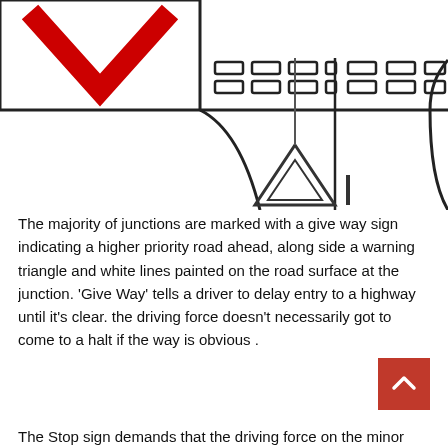[Figure (schematic): Road junction diagram showing a give way/yield sign (inverted triangle) and road markings, with a red give-way sign (inverted V chevron) at top left, dashed lines indicating road lanes, and road layout lines showing a T-junction or priority junction.]
The majority of junctions are marked with a give way sign indicating a higher priority road ahead, along side a warning triangle and white lines painted on the road surface at the junction. 'Give Way' tells a driver to delay entry to a highway until it's clear. the driving force doesn't necessarily got to come to a halt if the way is obvious .
The Stop sign demands that the driving force on the minor